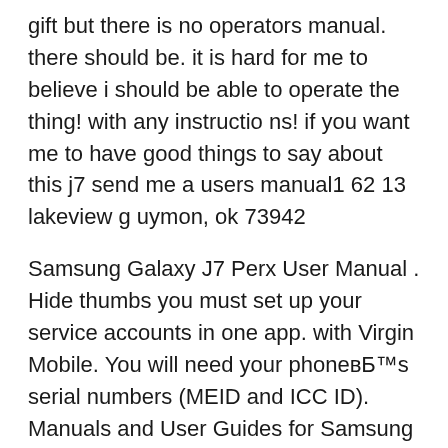gift but there is no operators manual. there should be. it is hard for me to believe i should be able to operate the thing! with any instructio ns! if you want me to have good things to say about this j7 send me a users manual1 62 13 lakeview g uymon, ok 73942
Samsung Galaxy J7 Perx User Manual . Hide thumbs you must set up your service accounts in one app. with Virgin Mobile. You will need your phoneвЂ™s serial numbers (MEID and ICC ID). Manuals and User Guides for Samsung Galaxy J7. We have 8 Samsung Galaxy J7 manuals available for free PDF download: User Manual, Getting Started Manual, Manual Samsung Galaxy J7 User Manual вЂ¦